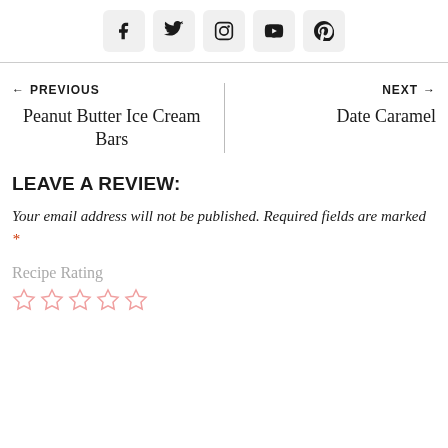[Figure (infographic): Row of social media icon buttons: Facebook, Twitter, Instagram, YouTube, Pinterest]
← PREVIOUS
Peanut Butter Ice Cream Bars
NEXT →
Date Caramel
LEAVE A REVIEW:
Your email address will not be published. Required fields are marked *
Recipe Rating
[Figure (other): Five empty star rating icons in light pink/red color]